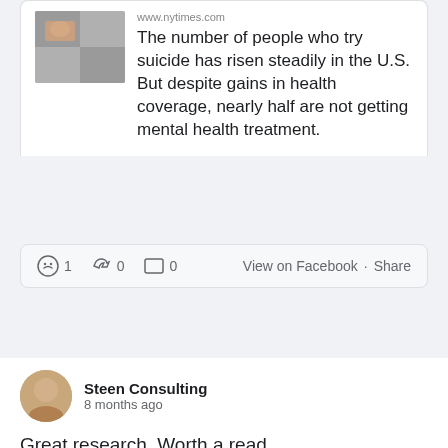[Figure (screenshot): Article preview thumbnail from NYTimes]
www.nytimes.com
The number of people who try suicide has risen steadily in the U.S. But despite gains in health coverage, nearly half are not getting mental health treatment.
1  0  0   View on Facebook · Share
[Figure (photo): Profile photo of Steen Consulting poster]
Steen Consulting
8 months ago
Great research. Worth a read.
[Figure (photo): Article thumbnail showing parent and child]
UConn Study: Improved Parenting Reduced Youth Suicide Risk by Combating Negative Self-Views in Bereaved Children - UConn Today